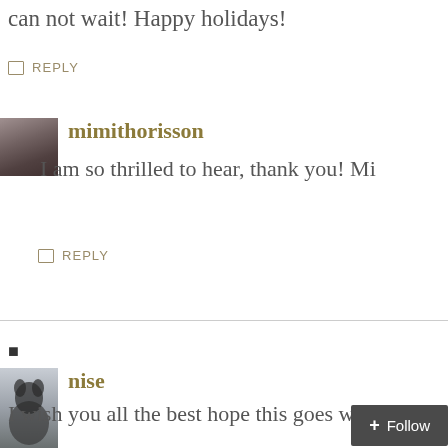can not wait! Happy holidays!
REPLY
mimithorisson
I am so thrilled to hear, thank you! Mi
REPLY
nise
I wish you all the best hope this goes well.